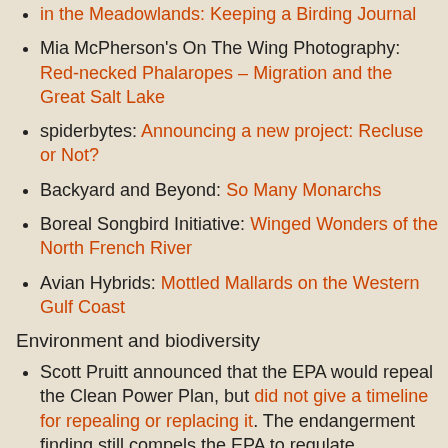in the Meadowlands: Keeping a Birding Journal
Mia McPherson's On The Wing Photography: Red-necked Phalaropes – Migration and the Great Salt Lake
spiderbytes: Announcing a new project: Recluse or Not?
Backyard and Beyond: So Many Monarchs
Boreal Songbird Initiative: Winged Wonders of the North French River
Avian Hybrids: Mottled Mallards on the Western Gulf Coast
Environment and biodiversity
Scott Pruitt announced that the EPA would repeal the Clean Power Plan, but did not give a timeline for repealing or replacing it. The endangerment finding still compels the EPA to regulate greenhouse gases. Pruitt may be trying to avoid addressing carbon emissions for as long as possible. Repealing the Clean Power Plan and